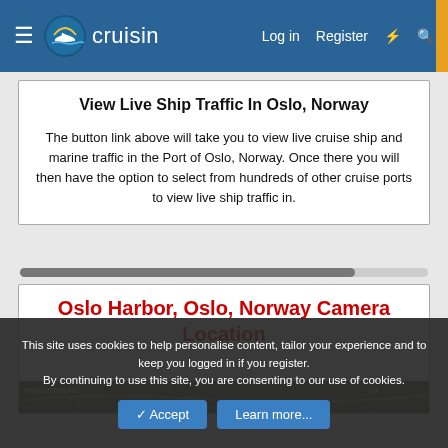cruisin — Log in | Register
View Live Ship Traffic In Oslo, Norway
The button link above will take you to view live cruise ship and marine traffic in the Port of Oslo, Norway. Once there you will then have the option to select from hundreds of other cruise ports to view live ship traffic in.
Oslo Harbor, Oslo, Norway Camera Location
[Figure (map): Aerial/satellite map thumbnail showing Oslo harbor area]
This site uses cookies to help personalise content, tailor your experience and to keep you logged in if you register.
By continuing to use this site, you are consenting to our use of cookies.